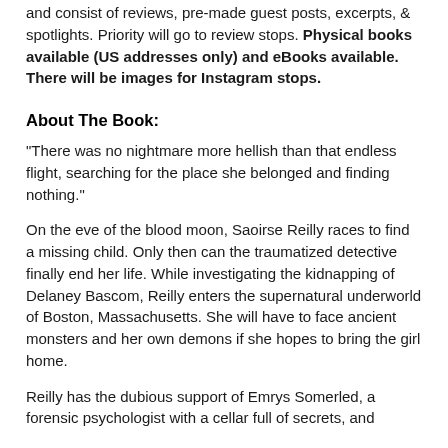and consist of reviews, pre-made guest posts, excerpts, & spotlights. Priority will go to review stops. Physical books available (US addresses only) and eBooks available. There will be images for Instagram stops.
About The Book:
"There was no nightmare more hellish than that endless flight, searching for the place she belonged and finding nothing."
On the eve of the blood moon, Saoirse Reilly races to find a missing child. Only then can the traumatized detective finally end her life. While investigating the kidnapping of Delaney Bascom, Reilly enters the supernatural underworld of Boston, Massachusetts. She will have to face ancient monsters and her own demons if she hopes to bring the girl home.
Reilly has the dubious support of Emrys Somerled, a forensic psychologist with a cellar full of secrets, and